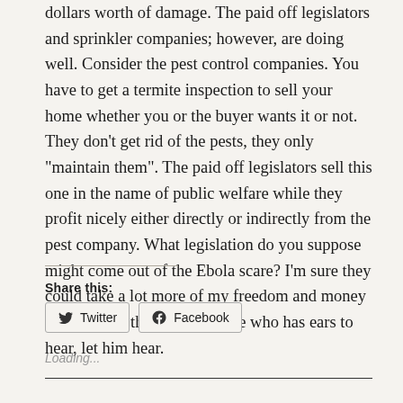only real danger is the sprinklers going off and doing millions of dollars worth of damage. The paid off legislators and sprinkler companies; however, are doing well. Consider the pest control companies. You have to get a termite inspection to sell your home whether you or the buyer wants it or not. They don't get rid of the pests, they only "maintain them". The paid off legislators sell this one in the name of public welfare while they profit nicely either directly or indirectly from the pest company. What legislation do you suppose might come out of the Ebola scare? I'm sure they could take a lot more of my freedom and money if they work this one right. He who has ears to hear, let him hear.
Share this:
Twitter  Facebook
Loading...